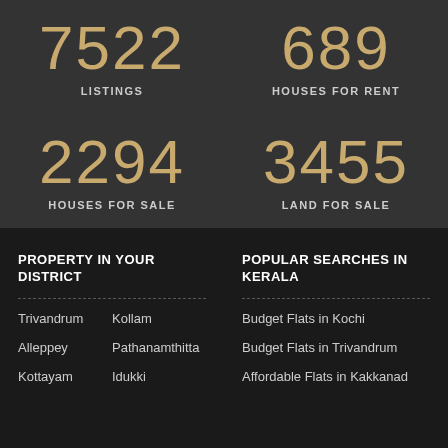7522 LISTINGS
689 HOUSES FOR RENT
2294 HOUSES FOR SALE
3455 LAND FOR SALE
PROPERTY IN YOUR DISTRICT
POPULAR SEARCHES IN KERALA
Trivandrum
Kollam
Alleppey
Pathanamthitta
Kottayam
Idukki
Budget Flats in Kochi
Budget Flats in Trivandrum
Affordable Flats in Kakkanad